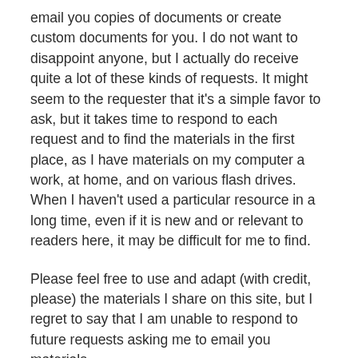email you copies of documents or create custom documents for you. I do not want to disappoint anyone, but I actually do receive quite a lot of these kinds of requests. It might seem to the requester that it's a simple favor to ask, but it takes time to respond to each request and to find the materials in the first place, as I have materials on my computer a work, at home, and on various flash drives. When I haven't used a particular resource in a long time, even if it is new and or relevant to readers here, it may be difficult for me to find.
Please feel free to use and adapt (with credit, please) the materials I share on this site, but I regret to say that I am unable to respond to future requests asking me to email you materials.
If you are looking for the materials I shared on this post about the hero's journey, please be aware I plan